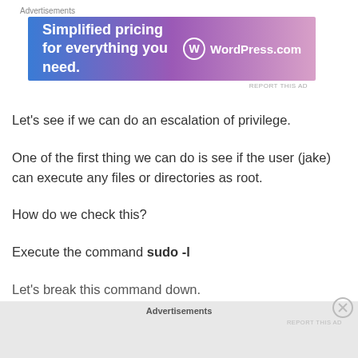[Figure (other): WordPress.com advertisement banner: 'Simplified pricing for everything you need.' with WordPress.com logo]
Let's see if we can do an escalation of privilege.
One of the first thing we can do is see if the user (jake) can execute any files or directories as root.
How do we check this?
Execute the command sudo -l
Let's break this command down.
Advertisements